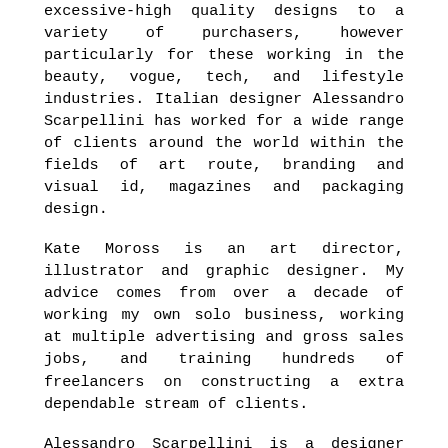excessive-high quality designs to a variety of purchasers, however particularly for these working in the beauty, vogue, tech, and lifestyle industries. Italian designer Alessandro Scarpellini has worked for a wide range of clients around the world within the fields of art route, branding and visual id, magazines and packaging design.
Kate Moross is an art director, illustrator and graphic designer. My advice comes from over a decade of working my own solo business, working at multiple advertising and gross sales jobs, and training hundreds of freelancers on constructing a extra dependable stream of clients.
Alessandro Scarpellini is a designer and art director with a reductive and modernist visual language, specialised in strategy, branding and visual communication. These are just a few graphic design portfolio examples. These initiatives have included humanizing physical merchandise, digital